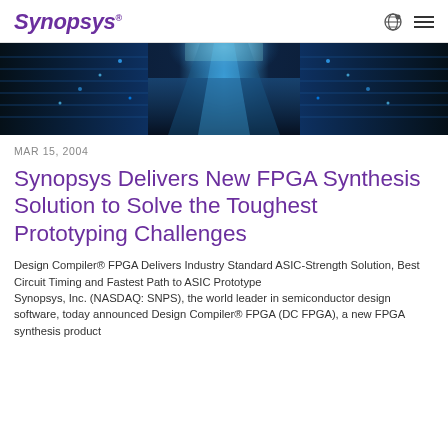SYNOPSYS
[Figure (photo): Data center hallway with blue-lit server racks on both sides converging to a bright vanishing point, with glowing digital network overlay]
MAR 15, 2004
Synopsys Delivers New FPGA Synthesis Solution to Solve the Toughest Prototyping Challenges
Design Compiler® FPGA Delivers Industry Standard ASIC-Strength Solution, Best Circuit Timing and Fastest Path to ASIC Prototype
Synopsys, Inc. (NASDAQ: SNPS), the world leader in semiconductor design software, today announced Design Compiler® FPGA (DC FPGA), a new FPGA synthesis product